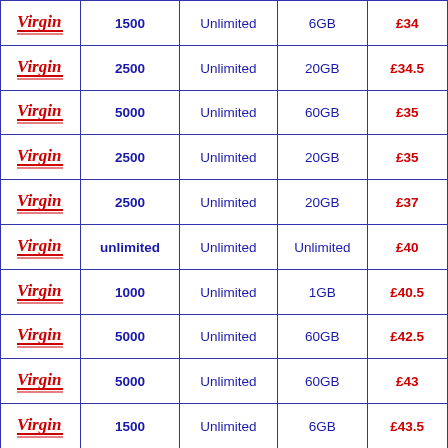| Provider | Minutes | Texts | Data | Price |
| --- | --- | --- | --- | --- |
| Virgin | 1500 | Unlimited | 6GB | £34 |
| Virgin | 2500 | Unlimited | 20GB | £34.5 |
| Virgin | 5000 | Unlimited | 60GB | £35 |
| Virgin | 2500 | Unlimited | 20GB | £35 |
| Virgin | 2500 | Unlimited | 20GB | £37 |
| Virgin | unlimited | Unlimited | Unlimited | £40 |
| Virgin | 1000 | Unlimited | 1GB | £40.5 |
| Virgin | 5000 | Unlimited | 60GB | £42.5 |
| Virgin | 5000 | Unlimited | 60GB | £43 |
| Virgin | 1500 | Unlimited | 6GB | £43.5 |